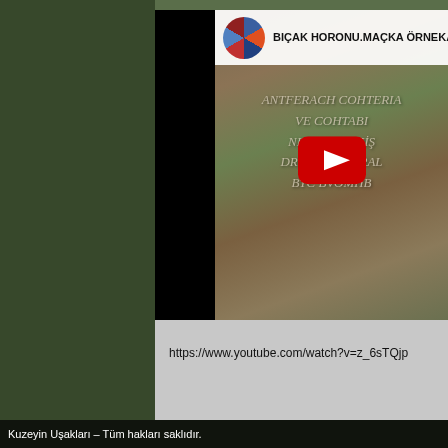[Figure (screenshot): YouTube video thumbnail screenshot showing 'BIÇAK HORONU.MAÇKA ÖRNEKALAN K...' with a YouTube play button overlay, aerial/landscape image background with overlaid text, and channel avatar. URL shown below: https://www.youtube.com/watch?v=z_6sTQjp...]
https://www.youtube.com/watch?v=z_6sTQjp
Kuzeyin Uşakları – Tüm hakları saklıdır.